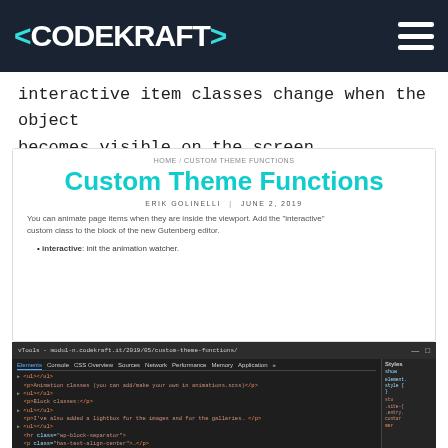<CODEKRAFT>
interactive item classes change when the object becomes visible on the screen
[Figure (screenshot): Screenshot of a website page titled 'Custom Theme Functions' by Erik Golinelli, June 2, 2019, showing breadcrumb HOME / Custom Theme Functions, a description of animating page items using 'interactive' custom class in Gutenberg editor, and a bullet point: interactive: init the animation watcher. Below it is a browser DevTools panel open on the Elements tab showing HTML source code with tags for animation classes, block classes, lightbox, separator, and animation triggered by visibility.]